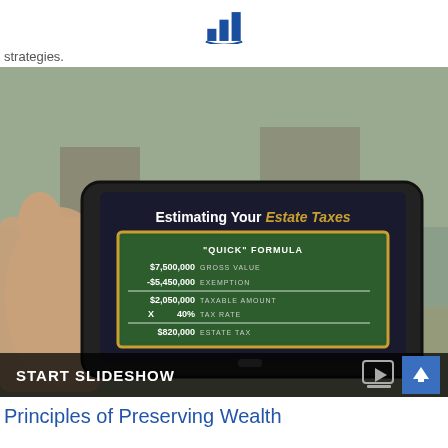[Figure (logo): Blue bar chart logo with company name below]
strategies.
[Figure (screenshot): A hand holding a tablet displaying a slideshow titled 'Estimating Your Estate Taxes' with a chalkboard showing a 'Quick Formula': $7,500,000 Gross Value minus -$5,450,000 Exemption equals $2,050,000 Taxable Amount times 40% Tax Rate equals $820,000 Estate Tax. Below the image is a dark bar with 'START SLIDESHOW' and navigation icons.]
Principles of Preserving Wealth